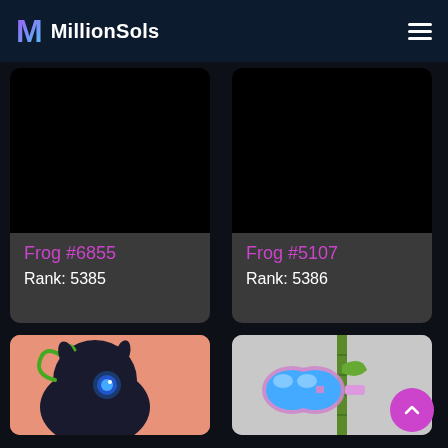MillionSols
[Figure (illustration): NFT card for Frog #6855 - black image area with dark overlay info panel showing name and rank]
Frog #6855
Rank: 5385
[Figure (illustration): NFT card for Frog #5107 - black image area with dark overlay info panel showing name and rank]
Frog #5107
Rank: 5386
[Figure (illustration): NFT card partially visible - orange/salmon background with dark frog character holding scythe with blue eye]
[Figure (illustration): NFT card partially visible - gray background with frog wearing ski goggles with blue lenses]